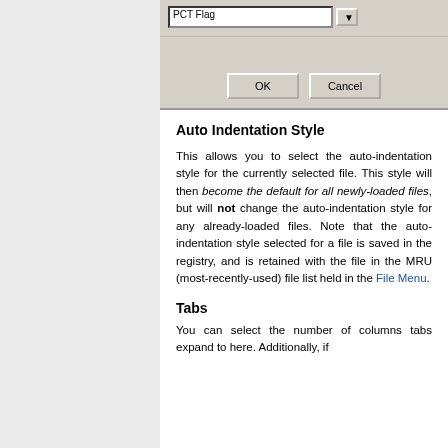[Figure (screenshot): Dialog box showing a text input field with 'PCT Flag' text, an OK button, and a Cancel button on a grey Windows-style UI background.]
Auto Indentation Style
This allows you to select the auto-indentation style for the currently selected file. This style will then become the default for all newly-loaded files, but will not change the auto-indentation style for any already-loaded files. Note that the auto-indentation style selected for a file is saved in the registry, and is retained with the file in the MRU (most-recently-used) file list held in the File Menu.
Tabs
You can select the number of columns tabs expand to here. Additionally, if